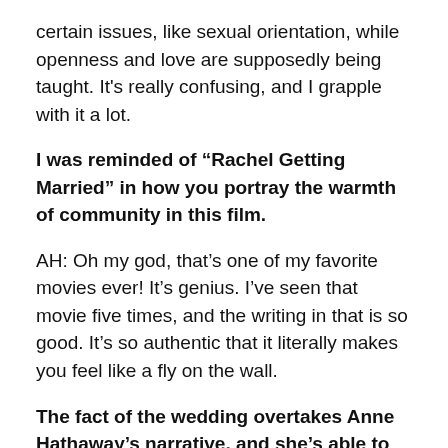certain issues, like sexual orientation, while openness and love are supposedly being taught. It's really confusing, and I grapple with it a lot.
I was reminded of “Rachel Getting Married” in how you portray the warmth of community in this film.
AH: Oh my god, that’s one of my favorite movies ever! It’s genius. I’ve seen that movie five times, and the writing in that is so good. It’s so authentic that it literally makes you feel like a fly on the wall.
The fact of the wedding overtakes Anne Hathaway’s narrative, and she’s able to make peace with her wounds. I love how the director, Jonathan Demme, samples each toast made by guests around the table, rather than just cut to Hathaway’s speech punctuated by reaction shots.